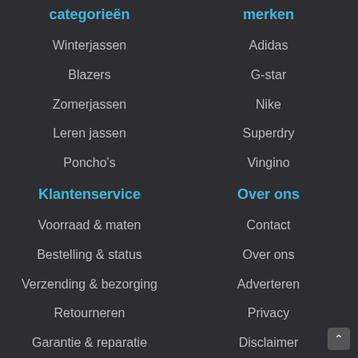categorieën
Winterjassen
Blazers
Zomerjassen
Leren jassen
Poncho's
merken
Adidas
G-star
Nike
Superdry
Vingino
Klantenservice
Voorraad & maten
Bestelling & status
Verzending & bezorging
Retourneren
Garantie & reparatie
Over ons
Contact
Over ons
Adverteren
Privacy
Disclaimer